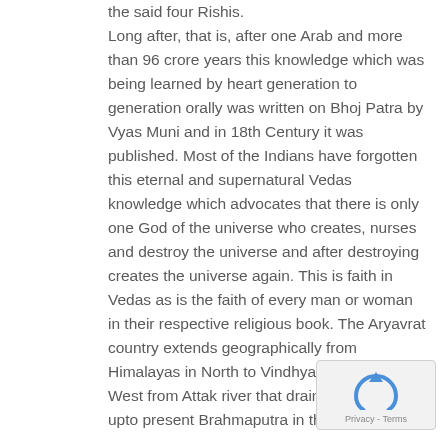the said four Rishis.
Long after, that is, after one Arab and more than 96 crore years this knowledge which was being learned by heart generation to generation orally was written on Bhoj Patra by Vyas Muni and in 18th Century it was published. Most of the Indians have forgotten this eternal and supernatural Vedas knowledge which advocates that there is only one God of the universe who creates, nurses and destroy the universe and after destroying creates the universe again. This is faith in Vedas as is the faith of every man or woman in their respective religious book. The Aryavrat country extends geographically from Himalayas in North to Vindhyachal in South; in West from Attak river that drains into ocean upto present Brahmaputra in the East.

From middle of Himalayas to South including strin of mountains upto Rameshwar and including Vindhyachal are all the eastern western all the
[Figure (other): reCAPTCHA widget showing Privacy - Terms]